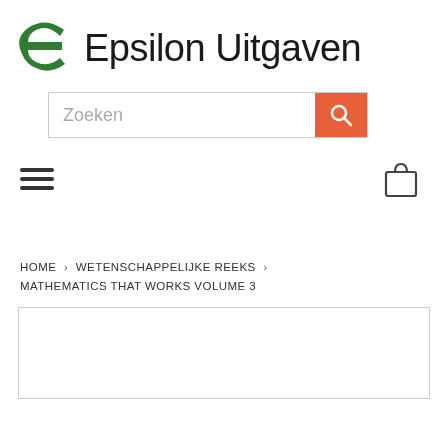[Figure (logo): Epsilon Uitgaven logo with green epsilon symbol and black text]
[Figure (screenshot): Search bar with placeholder text 'Zoeken' and orange search button with magnifying glass icon]
[Figure (other): Hamburger menu icon (three horizontal lines) on left, shopping bag icon on right]
HOME > WETENSCHAPPELIJKE REEKS > MATHEMATICS THAT WORKS VOLUME 3
[Figure (other): White content box with border at bottom of page]